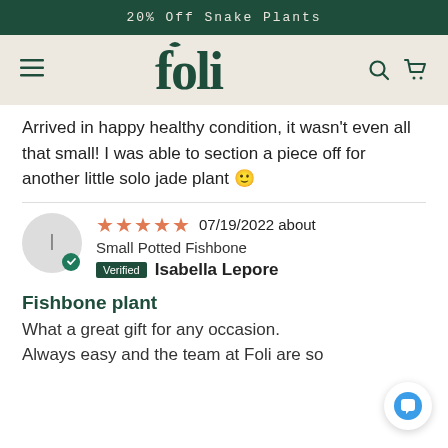20% Off Snake Plants
[Figure (logo): Foli plant shop logo with hamburger menu, search and cart icons on beige background]
Arrived in happy healthy condition, it wasn't even all that small! I was able to section a piece off for another little solo jade plant 😊
07/19/2022 about Small Potted Fishbone
Verified Isabella Lepore
Fishbone plant
What a great gift for any occasion. Always easy and the team at Foli are so